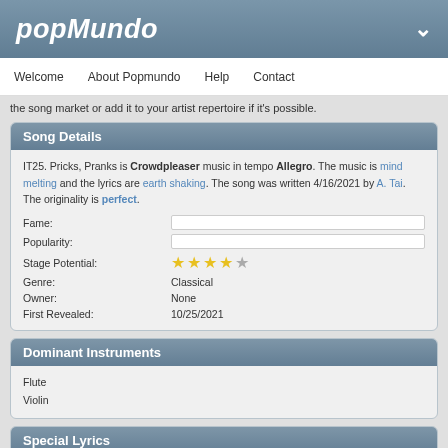Popmundo
Welcome  About Popmundo  Help  Contact
the song market or add it to your artist repertoire if it's possible.
Song Details
IT25. Pricks, Pranks is Crowdpleaser music in tempo Allegro. The music is mind melting and the lyrics are earth shaking. The song was written 4/16/2021 by A. Tai. The originality is perfect.
| Field | Value |
| --- | --- |
| Fame: |  |
| Popularity: |  |
| Stage Potential: | 4 stars out of 5 |
| Genre: | Classical |
| Owner: | None |
| First Revealed: | 10/25/2021 |
Dominant Instruments
Flute
Violin
Special Lyrics